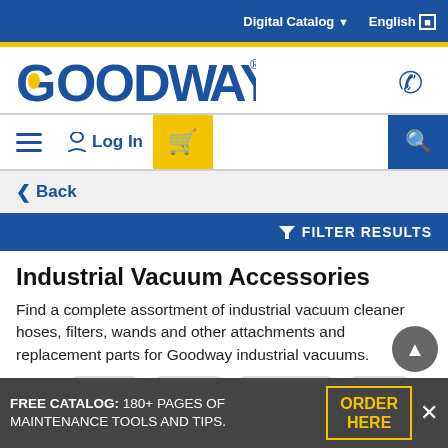Digital Catalog  English
[Figure (logo): Goodway logo in blue with registered trademark symbol]
Log In  [cart]  [search]
Back
FILTER RESULTS
Industrial Vacuum Accessories
Find a complete assortment of industrial vacuum cleaner hoses, filters, wands and other attachments and replacement parts for Goodway industrial vacuums.
Reset  1-1/2" x  Brush x  Squeegee x  VAC x
VAC & HEPA x  VAC EX 180 8555 x
FREE CATALOG: 180+ PAGES OF MAINTENANCE TOOLS AND TIPS.  ORDER HERE  x